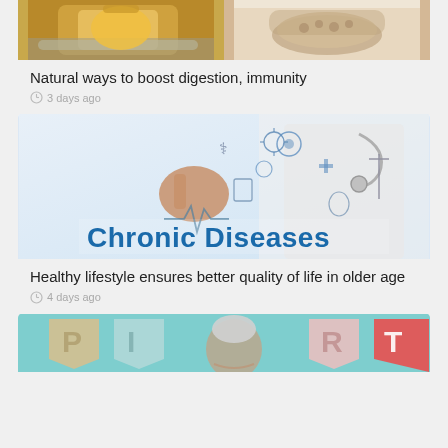[Figure (photo): Two food/drink images side by side: yellow drink in mug and bowl of grains, partially visible at top of page]
Natural ways to boost digestion, immunity
3 days ago
[Figure (photo): Doctor in white coat with stethoscope, with medical icons and text 'Chronic Diseases' overlaid]
Healthy lifestyle ensures better quality of life in older age
4 days ago
[Figure (photo): Older man smiling with birthday banner letters P, I, R, T visible, partially cut off at bottom]